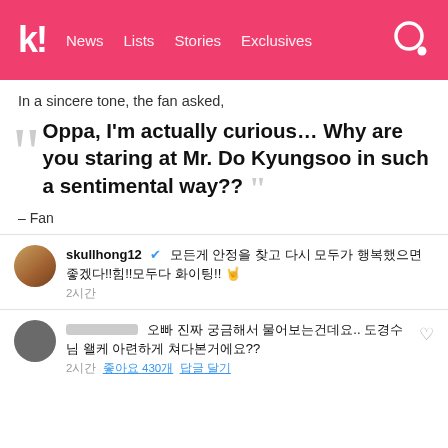k! News Lists Stories Exclusives
In a sincere tone, the fan asked,
Oppa, I'm actually curious… Why are you staring at Mr. Do Kyungsoo in such a sentimental way??
– Fan
[Figure (screenshot): Instagram comment from skullhong12 with verified badge: 모든게 안정을 찾고 다시 모두가 행복했으면 좋겠다!!힘!!모두다 화이팅!! 🤘 — 2시간]
[Figure (screenshot): Instagram comment from blurred username: 오빠 진짜 궁금해서 물어보는건데요.. 도경수님 왤케 아련하게 쳐다본거에요?? — 2시간 좋아요 430개 답글 달기]